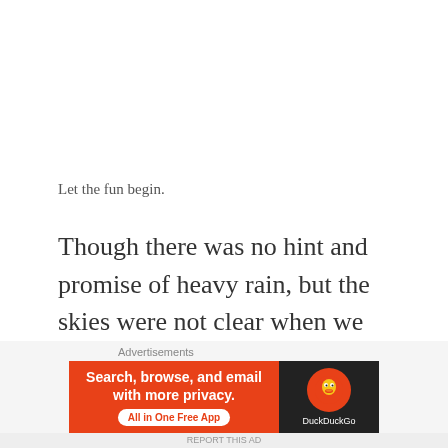Let the fun begin.
Though there was no hint and promise of heavy rain, but the skies were not clear when we arrived on the island. I feared that the next day's weather will be the same or worse. From the island's ferry port, we just walked our way to the resort where we will be checking in. The resort was just a 15-minute walk away from the port. The resort's usual check-in time is
[Figure (screenshot): DuckDuckGo advertisement banner with orange background on the left reading 'Search, browse, and email with more privacy. All in One Free App' and DuckDuckGo logo on dark background on the right]
Advertisements